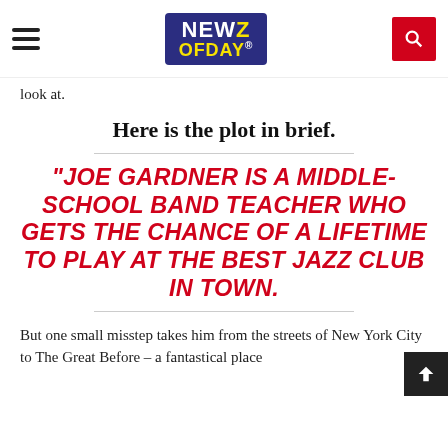NEWZ OF DAY
look at.
Here is the plot in brief.
“JOE GARDNER IS A MIDDLE-SCHOOL BAND TEACHER WHO GETS THE CHANCE OF A LIFETIME TO PLAY AT THE BEST JAZZ CLUB IN TOWN.
But one small misstep takes him from the streets of New York City to The Great Before – a fantastical place